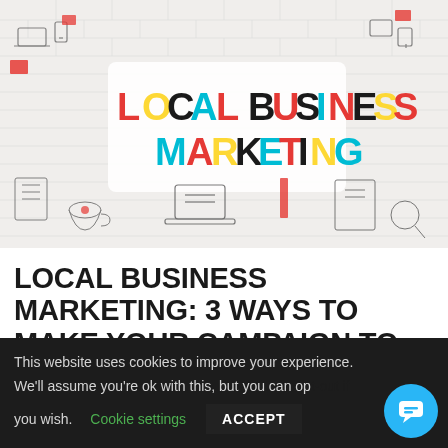[Figure (illustration): Local Business Marketing banner image with colorful illustrated doodle icons (laptops, phones, books, cups, scissors, etc.) surrounding large bold text 'LOCAL BUSINESS MARKETING' in multicolored letters on a white brick wall background]
LOCAL BUSINESS MARKETING: 3 WAYS TO MAKE YOUR CAMPAIGN TO
This website uses cookies to improve your experience. We'll assume you're ok with this, but you can opt-out if you wish. Cookie settings ACCEPT